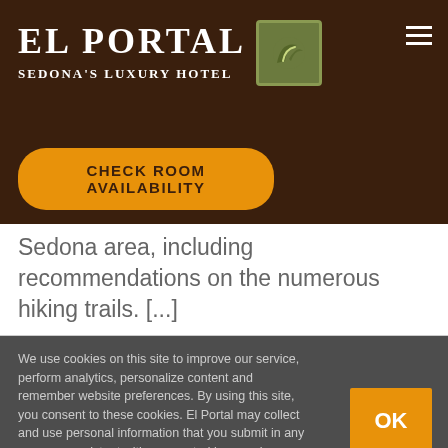El Portal Sedona's Luxury Hotel
CHECK ROOM AVAILABILITY
Sedona area, including recommendations on the numerous hiking trails. [...]
We use cookies on this site to improve our service, perform analytics, personalize content and remember website preferences. By using this site, you consent to these cookies. El Portal may collect and use personal information that you submit in any manner consistent with uses noted in our privacy policy. For more information including how to manage your consent visit our Privacy Policy .